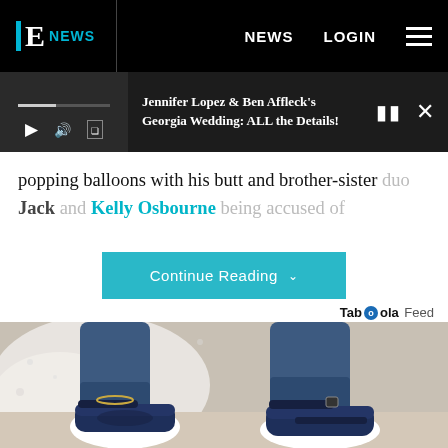E! NEWS — NEWS  LOGIN
[Figure (screenshot): Media player bar showing a video/audio player with play button, volume icon, progress bar, and article title 'Jennifer Lopez & Ben Affleck's Georgia Wedding: ALL the Details!' with pause and close buttons]
popping balloons with his butt and brother-sister duo Jack and Kelly Osbourne being accused of
Continue Reading
Taboola Feed
[Figure (photo): Advertisement photo showing a person's legs wearing blue jeans and navy blue athletic sandals/shoes with white soles and velcro straps, on a white fluffy surface]